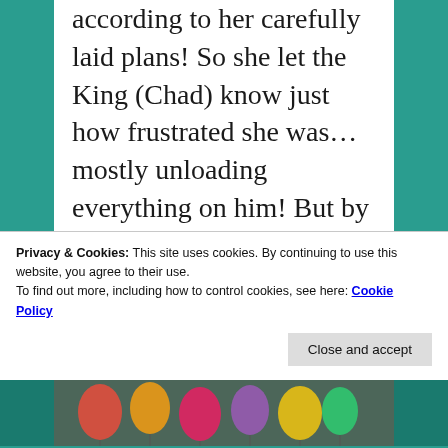according to her carefully laid plans! So she let the King (Chad) know just how frustrated she was... mostly unloading everything on him! But by the time the guests arrived all was back to “…normal”
Privacy & Cookies: This site uses cookies. By continuing to use this website, you agree to their use.
To find out more, including how to control cookies, see here: Cookie Policy
Close and accept
[Figure (photo): Partial view of colorful balloons and party items at the bottom of the page]